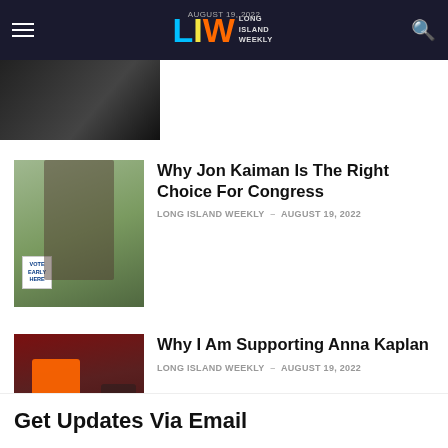Long Island Weekly – AUGUST 19, 2022
[Figure (photo): Hero image strip at top left]
Why Jon Kaiman Is The Right Choice For Congress
LONG ISLAND WEEKLY – AUGUST 19, 2022
[Figure (photo): Man standing outdoors near a Vote Early Here sign]
Why I Am Supporting Anna Kaplan
LONG ISLAND WEEKLY – AUGUST 19, 2022
[Figure (photo): Woman in orange jacket speaking at a podium]
Get Updates Via Email